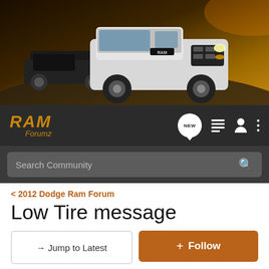[Figure (photo): Banner image showing Ram pickup trucks on a track, dark/orange tones]
RAM Forumz
Search Community
< 2012 Dodge Ram Forum
Low Tire message
→ Jump to Latest
+ Follow
1 - 1 of 1 Posts
jomama3737 · Registered
Joined Dec 17, 2011 · 12 Posts